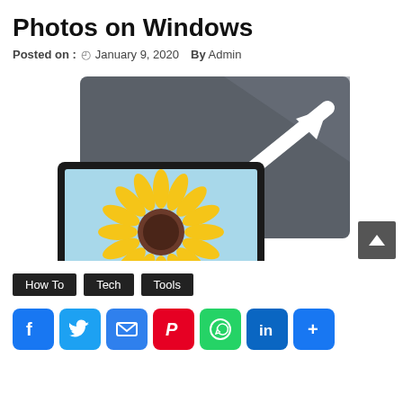Photos on Windows
Posted on : January 9, 2020  By Admin
[Figure (illustration): Windows Photos app icon: a dark grey rectangle with a resize arrow, and an overlapping tablet/monitor showing a sunflower on a light blue background.]
How To
Tech
Tools
[Figure (infographic): Social share buttons: Facebook, Twitter, Email, Pinterest, WhatsApp, LinkedIn, More]